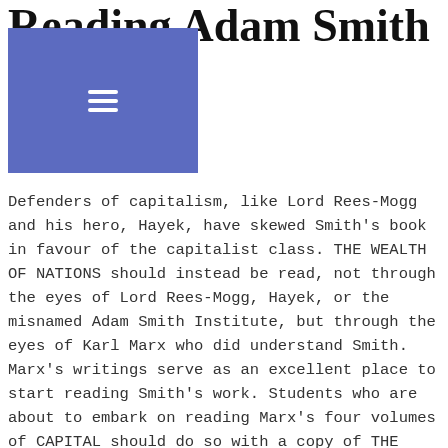Reading Adam Smith as a Marxist
[Figure (other): Navigation menu overlay (hamburger icon on indigo/purple background) partially covering the title text]
Defenders of capitalism, like Lord Rees-Mogg and his hero, Hayek, have skewed Smith's book in favour of the capitalist class. THE WEALTH OF NATIONS should instead be read, not through the eyes of Lord Rees-Mogg, Hayek, or the misnamed Adam Smith Institute, but through the eyes of Karl Marx who did understand Smith. Marx's writings serve as an excellent place to start reading Smith's work. Students who are about to embark on reading Marx's four volumes of CAPITAL should do so with a copy of THE WEALTH OF NATIONS and Ricardo's PRINCIPLES OF POLITICAL ECONOMY at hand.
Smith's importance lies not in his erroneous theory of market harmony but instead in his setting out a